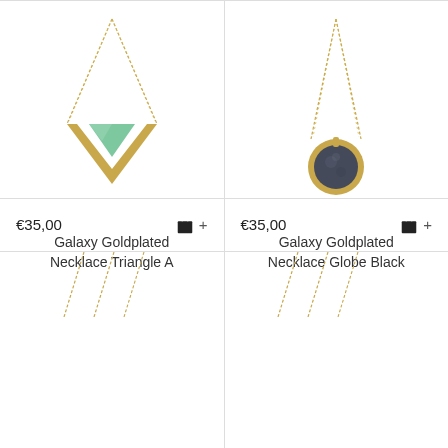[Figure (photo): Galaxy Goldplated Necklace Triangle A - gold chain with triangular gold pendant featuring green stone]
[Figure (photo): Galaxy Goldplated Necklace Globe Black - gold chain with round gold pendant featuring dark/black stone]
Galaxy Goldplated Necklace Triangle A
Galaxy Goldplated Necklace Globe Black
€35,00
€35,00
[Figure (photo): Partial view of another gold necklace product (left)]
[Figure (photo): Partial view of another gold necklace product (right)]